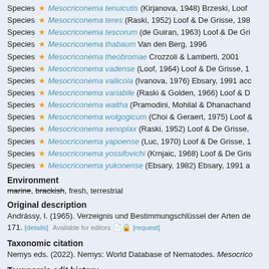Species ★ Mesocriconema tenuicutis (Kirjanova, 1948) Brzeski, Loof
Species ★ Mesocriconema teres (Raski, 1952) Loof & De Grisse, 198
Species ★ Mesocriconema tescorum (de Guiran, 1963) Loof & De Gri
Species ★ Mesocriconema thabaum Van den Berg, 1996
Species ★ Mesocriconema theobromae Crozzoli & Lamberti, 2001
Species ★ Mesocriconema vadense (Loof, 1964) Loof & De Grisse, 1
Species ★ Mesocriconema vallicola (Ivanova, 1976) Ebsary, 1991 acc
Species ★ Mesocriconema variabile (Raski & Golden, 1966) Loof & D
Species ★ Mesocriconema waitha (Pramodini, Mohilal & Dhanachand
Species ★ Mesocriconema wolgogicum (Choi & Geraert, 1975) Loof &
Species ★ Mesocriconema xenoplax (Raski, 1952) Loof & De Grisse,
Species ★ Mesocriconema yapoense (Luc, 1970) Loof & De Grisse, 1
Species ★ Mesocriconema yossifovichi (Krnjaic, 1968) Loof & De Gris
Species ★ Mesocriconema yukonense (Ebsary, 1982) Ebsary, 1991 a
Environment
marine, brackish, fresh, terrestrial
Original description
Andrássy, I. (1965). Verzeignis und Bestimmungschlüssel der Arten de 171. [details]  Available for editors 🔒 [request]
Taxonomic citation
Nemys eds. (2022). Nemys: World Database of Nematodes. Mesocrico
Taxonomic edit history
Date
2019-02-21 19:42:507